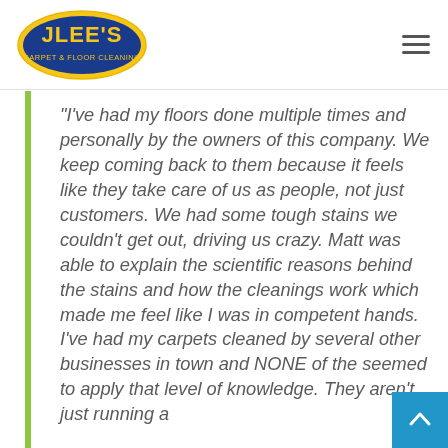[Figure (logo): JLEE'S Carpet & Floor Cleaning logo — oval shape with blue and gold text]
“I’ve had my floors done multiple times and personally by the owners of this company. We keep coming back to them because it feels like they take care of us as people, not just customers. We had some tough stains we couldn’t get out, driving us crazy. Matt was able to explain the scientific reasons behind the stains and how the cleanings work which made me feel like I was in competent hands. I’ve had my carpets cleaned by several other businesses in town and NONE of the seemed to apply that level of knowledge. They aren’t just running a